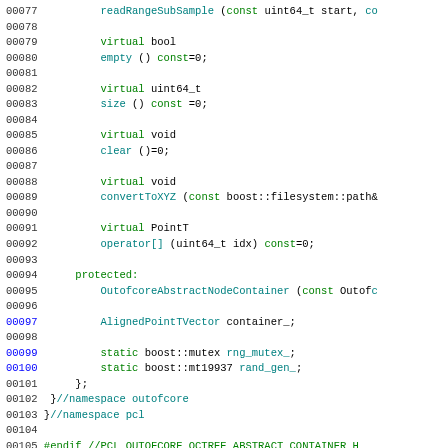[Figure (screenshot): Source code listing showing C++ class definition lines 00077-00105 with syntax highlighting. Line numbers in black/blue on left, keywords in green, identifiers in teal/cyan.]